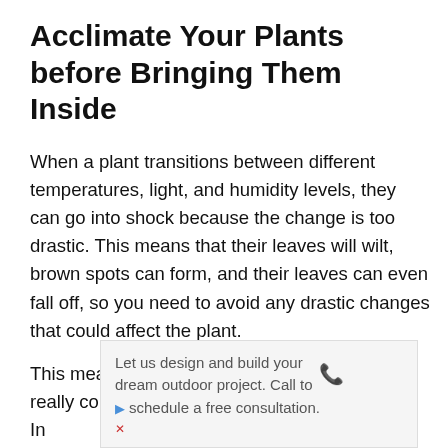Acclimate Your Plants before Bringing Them Inside
When a plant transitions between different temperatures, light, and humidity levels, they can go into shock because the change is too drastic. This means that their leaves will wilt, brown spots can form, and their leaves can even fall off, so you need to avoid any drastic changes that could affect the plant.
This means that you should not wait until it is really cold outside to bring your plants indoors. In
[Figure (other): Advertisement banner: 'Let us design and build your dream outdoor project. Call to schedule a free consultation.' with a blue phone icon and blue arrow play button.]